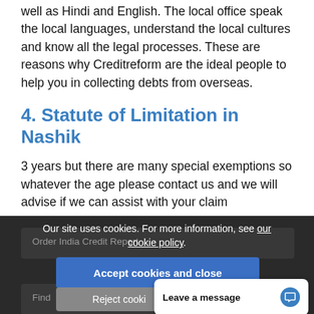well as Hindi and English. The local office speak the local languages, understand the local cultures and know all the legal processes. These are reasons why Creditreform are the ideal people to help you in collecting debts from overseas.
4. Statute of Limitation in Nashik
3 years but there are many special exemptions so whatever the age please contact us and we will advise if we can assist with your claim
Our site uses cookies. For more information, see our cookie policy.
Order India Credit Report
Accept cookies and close
Find
Reject cooki
Leave a message